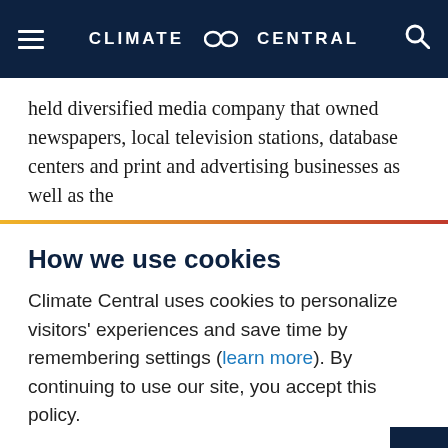CLIMATE ∞ CENTRAL
held diversified media company that owned newspapers, local television stations, database centers and print and advertising businesses as well as the
How we use cookies
Climate Central uses cookies to personalize visitors' experiences and save time by remembering settings (learn more). By continuing to use our site, you accept this policy.
Accept →